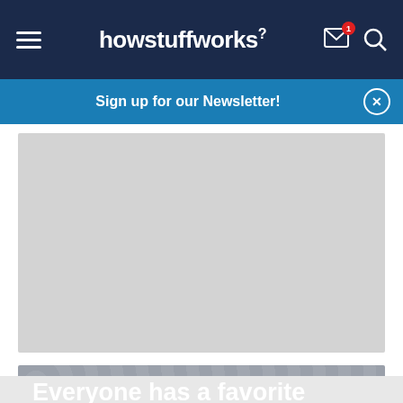howstuffworks
Sign up for our Newsletter!
[Figure (other): Gray advertisement placeholder area]
Everyone has a favorite color that matches their personality, but which of these resembles yours?